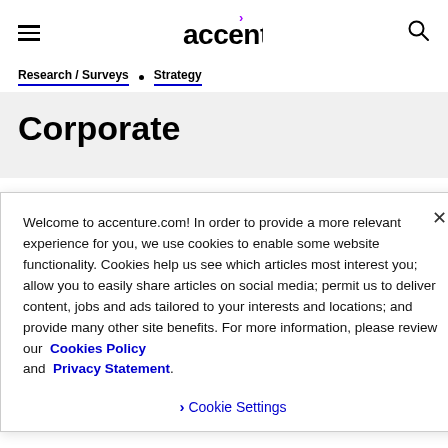accenture
Research / Surveys • Strategy
Corporate
Welcome to accenture.com! In order to provide a more relevant experience for you, we use cookies to enable some website functionality. Cookies help us see which articles most interest you; allow you to easily share articles on social media; permit us to deliver content, jobs and ads tailored to your interests and locations; and provide many other site benefits. For more information, please review our Cookies Policy and Privacy Statement.
Cookie Settings